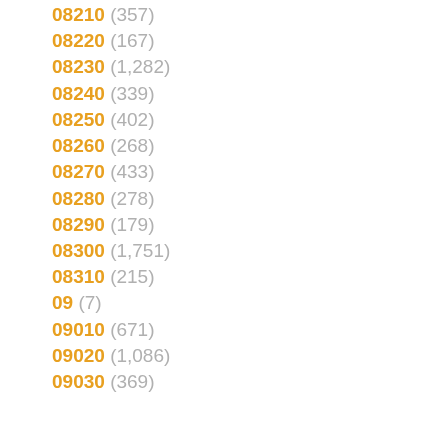08210 (357)
08220 (167)
08230 (1,282)
08240 (339)
08250 (402)
08260 (268)
08270 (433)
08280 (278)
08290 (179)
08300 (1,751)
08310 (215)
09 (7)
09010 (671)
09020 (1,086)
09030 (369)